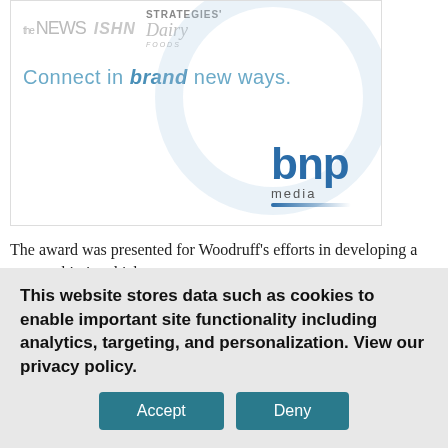[Figure (advertisement): BNP Media advertisement banner with logos for 'the NEWS', 'ISHN', 'STRATEGIES', 'Dairy Foods' at top, tagline 'Connect in brand new ways.' and BNP media logo at bottom right]
The award was presented for Woodruff's efforts in developing a partnership in which
This website stores data such as cookies to enable important site functionality including analytics, targeting, and personalization. View our privacy policy.